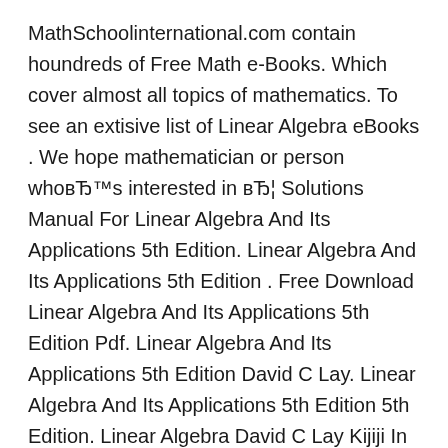MathSchoolinternational.com contain houndreds of Free Math e-Books. Which cover almost all topics of mathematics. To see an extisive list of Linear Algebra eBooks . We hope mathematician or person whoвЂ™s interested in вЂ¦ Solutions Manual For Linear Algebra And Its Applications 5th Edition. Linear Algebra And Its Applications 5th Edition . Free Download Linear Algebra And Its Applications 5th Edition Pdf. Linear Algebra And Its Applications 5th Edition David C Lay. Linear Algebra And Its Applications 5th Edition 5th Edition. Linear Algebra David C Lay Kijiji In Ontario Buy Sell Save. Image Of A Linear
If anyone could send me the solutions to "linear